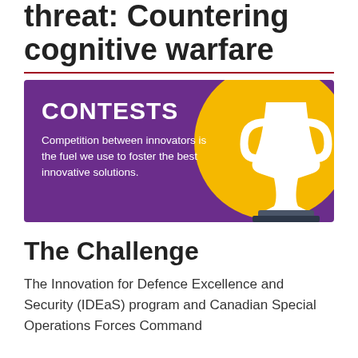threat: Countering cognitive warfare
[Figure (infographic): Purple banner with 'CONTESTS' heading and text 'Competition between innovators is the fuel we use to foster the best innovative solutions.' alongside a gold circle with a trophy illustration.]
The Challenge
The Innovation for Defence Excellence and Security (IDEaS) program and Canadian Special Operations Forces Command